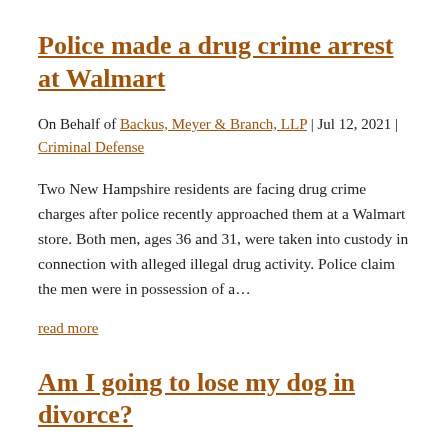Police made a drug crime arrest at Walmart
On Behalf of Backus, Meyer & Branch, LLP | Jul 12, 2021 | Criminal Defense
Two New Hampshire residents are facing drug crime charges after police recently approached them at a Walmart store. Both men, ages 36 and 31, were taken into custody in connection with alleged illegal drug activity. Police claim the men were in possession of a…
read more
Am I going to lose my dog in divorce?